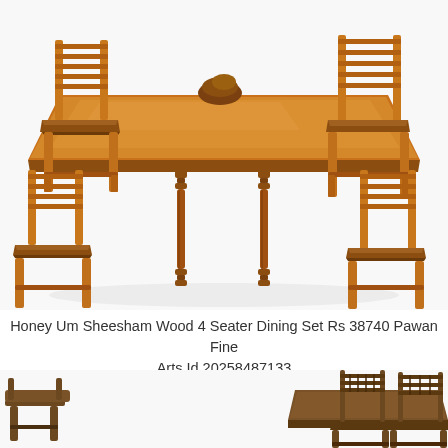[Figure (photo): Honey Um Sheesham wood 4-seater dining set with rectangular table and four chairs with slatted backs, warm honey-brown finish, photographed on white background from a slightly elevated angle]
Honey Um Sheesham Wood 4 Seater Dining Set Rs 38740 Pawan Fine Arts Id 20258487133
[Figure (photo): Smaller dining set with darker wood finish showing table and chairs with decorative carved backs, partial view at bottom of page]